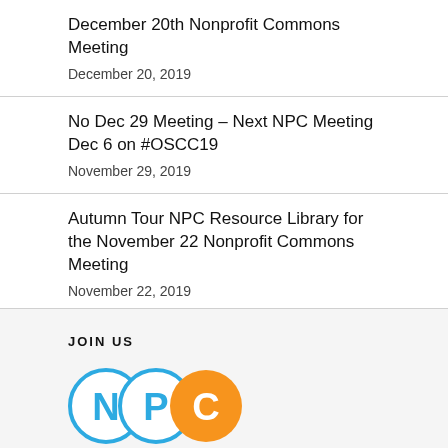December 20th Nonprofit Commons Meeting
December 20, 2019
No Dec 29 Meeting – Next NPC Meeting Dec 6 on #OSCC19
November 29, 2019
Autumn Tour NPC Resource Library for the November 22 Nonprofit Commons Meeting
November 22, 2019
JOIN US
[Figure (logo): NPC logo with three overlapping circles in blue and orange containing the letters N, P, C]